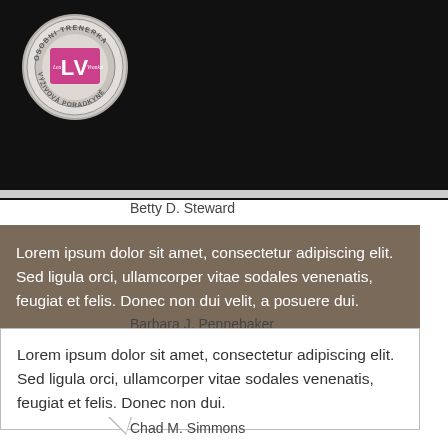[Figure (logo): Circular logo with text 'OSOBNI TRENERKA' on top, 'VÝŽIVOVÁ PORADKYNĚ' on bottom, pink/magenta 'LV' initials in center, gray circle border, on black background header]
Betty D. Steward
Lorem ipsum dolor sit amet, consectetur adipiscing elit. Sed ligula orci, ullamcorper vitae sodales venenatis, feugiat et felis. Donec non dui velit, a posuere dui.
Barbara J. Pennebaker
Lorem ipsum dolor sit amet, consectetur adipiscing elit. Sed ligula orci, ullamcorper vitae sodales venenatis, feugiat et felis. Donec non dui.
Chad M. Simmons